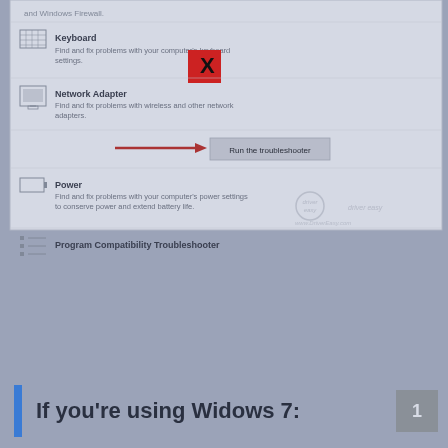[Figure (screenshot): Windows troubleshooter list showing Keyboard, Network Adapter, Power, and Program Compatibility Troubleshooter items, with a red X overlay on the Keyboard item and an arrow pointing to 'Run the troubleshooter' button. Driver Easy watermark visible.]
If you're using Widows 7: